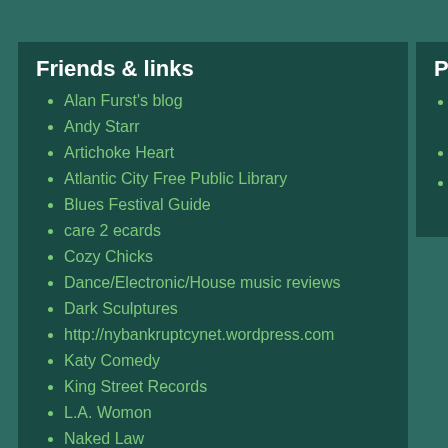Friends & links
Alan Furst's blog
Andy Starr
Artichoke Heart
Atlantic City Free Public Library
Blues Festival Guide
care 2 ecards
Cozy Chicks
Dance/Electronic/House music reviews
Dark Sculptures
http://nybankruptcynet.wordpress.com
Katy Comedy
King Street Records
L.A. Womon
Naked Law
Pages
“The Miracle In- Distance Love S
About Achilliad
Tune Wedgies - Your Mind?